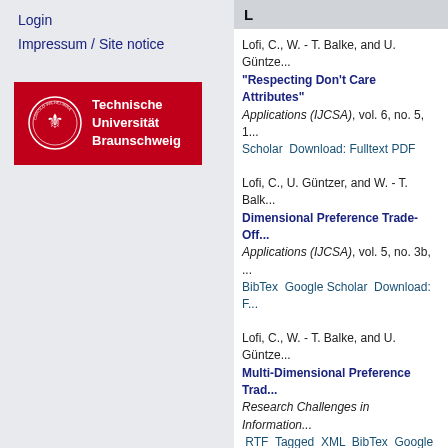Login
Impressum / Site notice
[Figure (logo): Technische Universität Braunschweig logo with red background, white crest and white text]
L
Lofi, C., W. - T. Balke, and U. Güntze... "Respecting Don't Care Attributes" Applications (IJCSA), vol. 6, no. 5, 1... Scholar Download: Fulltext PDF
Lofi, C., U. Güntzer, and W. - T. Balk... Dimensional Preference Trade-Off... Applications (IJCSA), vol. 5, no. 3b,... BibTex Google Scholar Download: F...
Lofi, C., W. - T. Balke, and U. Güntze... Multi-Dimensional Preference Trad... Research Challenges in Information... RTF Tagged XML BibTex Google S...
Lofi, C., W. - T. Balke, and U. Güntze... 3rd IEEE International Conference o... (RCIS), Fès, Morocco, 04/2009. Abstr... Scholar Download: rcis09_final.pdf
K